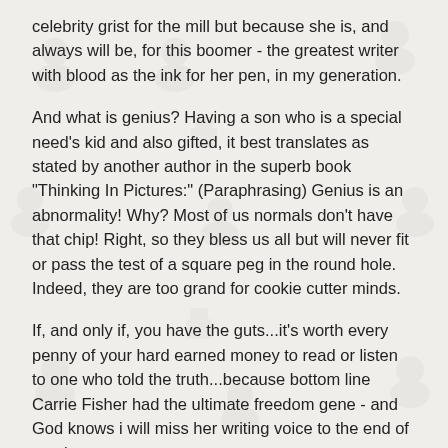celebrity grist for the mill but because she is, and always will be, for this boomer - the greatest writer with blood as the ink for her pen, in my generation.
And what is genius? Having a son who is a special need's kid and also gifted, it best translates as stated by another author in the superb book "Thinking In Pictures:" (Paraphrasing) Genius is an abnormality! Why? Most of us normals don't have that chip! Right, so they bless us all but will never fit or pass the test of a square peg in the round hole. Indeed, they are too grand for cookie cutter minds.
If, and only if, you have the guts...it's worth every penny of your hard earned money to read or listen to one who told the truth...because bottom line Carrie Fisher had the ultimate freedom gene - and God knows i will miss her writing voice to the end of my days.